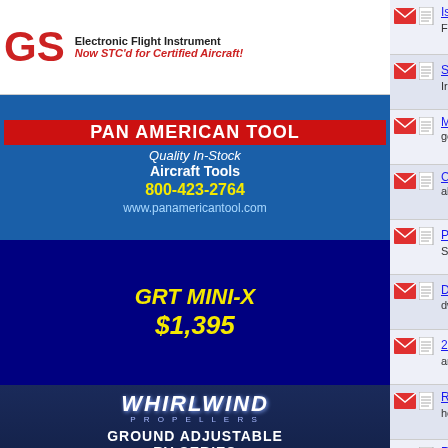[Figure (advertisement): GS Electronic Flight Instrument - Now STC'd for Certified Aircraft!]
[Figure (advertisement): PAN AMERICAN TOOL - Quality In-Stock Aircraft Tools, 800-423-2764, www.panamericantool.com]
[Figure (advertisement): GRT MINI-X $1,395]
[Figure (advertisement): WHIRLWIND PROPELLERS - Ground Adjustable RV Series]
Is an actual compass required? (1 2 3) FireMedic_2009
Signs of Use - Signs of Life! (1 2 3) Ironflight
Moving part-way through build gotyoke
Contradiction from Van's re: AN fuel fitting torque alpinelakespilot2000
Pink slip (1 2) Scott Hersha
Dimpling Multiple Layers dwollen89
2-Way Radio Antenna (1 2) andresmith76@hotmail.com by andre
RV-6 vs Hip Replacement Surgery (1 2 3) hoyden
Re-installing Lycoming cylinder (1 2) Bavafa
Tank access plate, nut plates? JeremyL
Moved: GPS only equipment for IFR FireMedic_2009